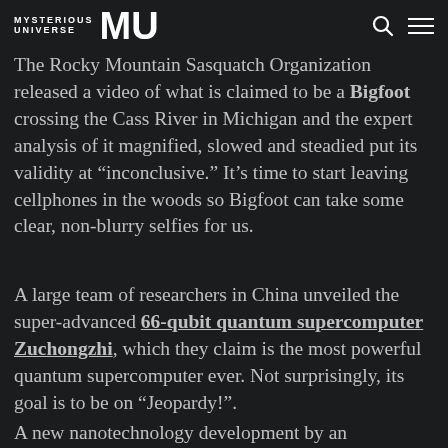MYSTERIOUS UNIVERSE MU
The Rocky Mountain Sasquatch Organization released a video of what is claimed to be a Bigfoot crossing the Cass River in Michigan and the expert analysis of it magnified, slowed and steadied put its validity at “inconclusive.” It’s time to start leaving cellphones in the woods so Bigfoot can take some clear, non-blurry selfies for us.
A large team of researchers in China unveiled the super-advanced 66-qubit quantum supercomputer Zuchongzhi, which they claim is the most powerful quantum supercomputer ever. Not surprisingly, its goal is to be on “Jeopardy!”.
A new nanotechnology development by an